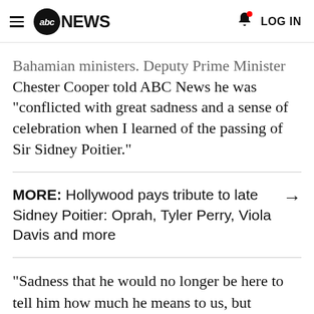abc NEWS   LOG IN
Bahamian ministers. Deputy Prime Minister Chester Cooper told ABC News he was "conflicted with great sadness and a sense of celebration when I learned of the passing of Sir Sidney Poitier."
MORE: Hollywood pays tribute to late Sidney Poitier: Oprah, Tyler Perry, Viola Davis and more
"Sadness that he would no longer be here to tell him how much he means to us, but